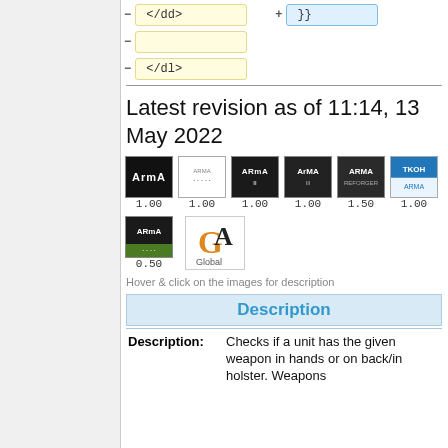[Figure (screenshot): Code diff region showing removed lines with yellow boxes containing '</dd>', an empty line, and '</dl>' tags, plus a blue box with '}}']
Latest revision as of 11:14, 13 May 2022
[Figure (infographic): Row of ARMA game version badges: ARMA 1.00, 1.00, 1.00, 1.00, 1.50, 1.00 then 0.50 below, plus a Global badge]
Hover & click on the images for description
Description
| Description: | Checks if a unit has the given weapon in hands or on back/in holster. Weapons |